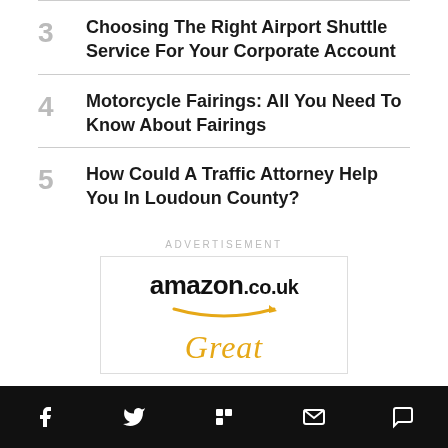3 Choosing The Right Airport Shuttle Service For Your Corporate Account
4 Motorcycle Fairings: All You Need To Know About Fairings
5 How Could A Traffic Attorney Help You In Loudoun County?
[Figure (other): Advertisement box showing amazon.co.uk logo with orange arrow and partially visible word 'Great' in orange italic text]
Social media icons: Facebook, Twitter, Flipboard, Email, Comment